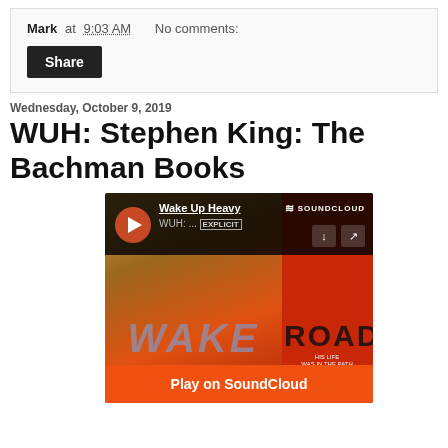Mark at 9:03 AM   No comments:
Share
Wednesday, October 9, 2019
WUH: Stephen King: The Bachman Books
[Figure (screenshot): SoundCloud embedded player showing Wake Up Heavy podcast episode about Stephen King's The Bachman Books, with book cover art showing 'WAKE' and 'ROAD' text, and a 'Play on SoundCloud' orange button at the bottom.]